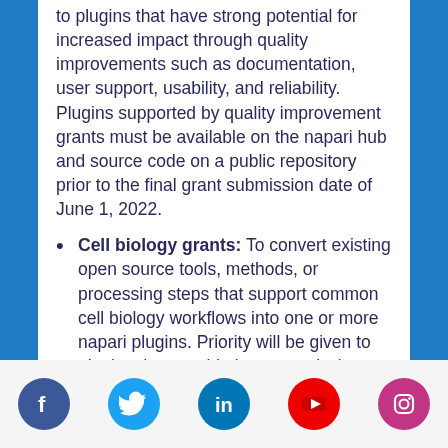to plugins that have strong potential for increased impact through quality improvements such as documentation, user support, usability, and reliability. Plugins supported by quality improvement grants must be available on the napari hub and source code on a public repository prior to the final grant submission date of June 1, 2022.
Cell biology grants: To convert existing open source tools, methods, or processing steps that support common cell biology workflows into one or more napari plugins. Priority will be given to plugins that provide image analysis, processing, and quantification solutions that are currently lacking in the napari plugin ecosystem through the napari hub.